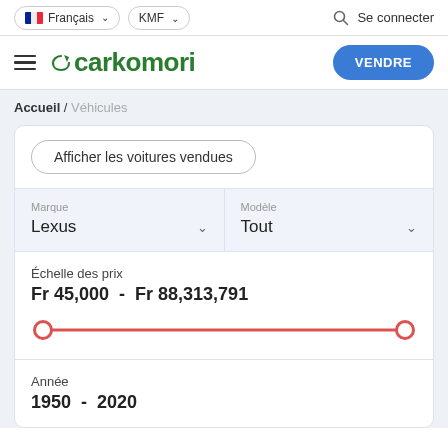Français KMF Se connecter
carkomori VENDRE
Accueil / Véhicules
Afficher les voitures vendues
Marque: Lexus
Modèle: Tout
Échelle des prix
Fr 45,000  -  Fr 88,313,791
[Figure (other): Price range slider with red track and two circular thumbs at each end]
Année
1950  -  2020